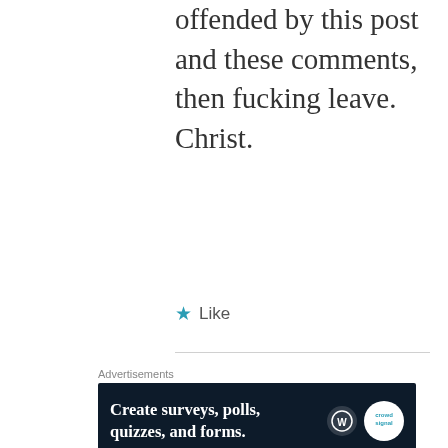offended by this post and these comments, then fucking leave. Christ.
Like
[Figure (infographic): Advertisement banner: dark navy background with text 'Create surveys, polls, quizzes, and forms.' and WordPress and Crowdsignal logos on the right.]
REPORT THIS AD
[Figure (illustration): Circular avatar image showing a cartoon character: a red-brown creature shaped like a Christmas tree with green arms and a rabbit-like head, on a light beige background.]
Leci
DEC 7, 2017 AT 10:34 AM
Are there any actual stories of people attending the retreat? It